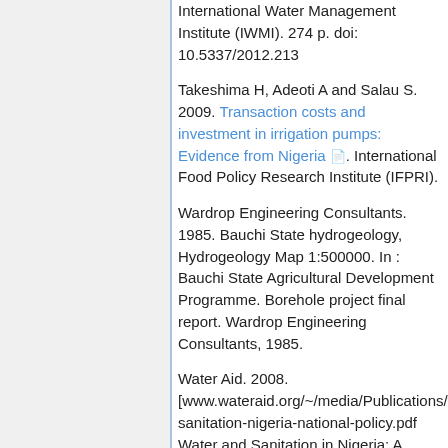International Water Management Institute (IWMI). 274 p. doi: 10.5337/2012.213
Takeshima H, Adeoti A and Salau S. 2009. Transaction costs and investment in irrigation pumps: Evidence from Nigeria [PDF link]. International Food Policy Research Institute (IFPRI).
Wardrop Engineering Consultants. 1985. Bauchi State hydrogeology, Hydrogeology Map 1:500000. In : Bauchi State Agricultural Development Programme. Borehole project final report. Wardrop Engineering Consultants, 1985.
Water Aid. 2008. [www.wateraid.org/~/media/Publications/wa...sanitation-nigeria-national-policy.pdf Water and Sanitation in Nigeria: A briefing on national policy]. Water Aid